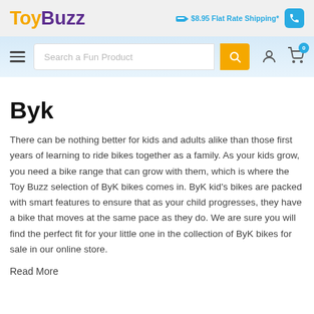ToyBuzz — $8.95 Flat Rate Shipping*
[Figure (screenshot): Navigation bar with hamburger menu, search box reading 'Search a Fun Product', orange search button, user icon, and cart icon with badge '0']
Byk
There can be nothing better for kids and adults alike than those first years of learning to ride bikes together as a family. As your kids grow, you need a bike range that can grow with them, which is where the Toy Buzz selection of ByK bikes comes in. ByK kid's bikes are packed with smart features to ensure that as your child progresses, they have a bike that moves at the same pace as they do. We are sure you will find the perfect fit for your little one in the collection of ByK bikes for sale in our online store.
Read More